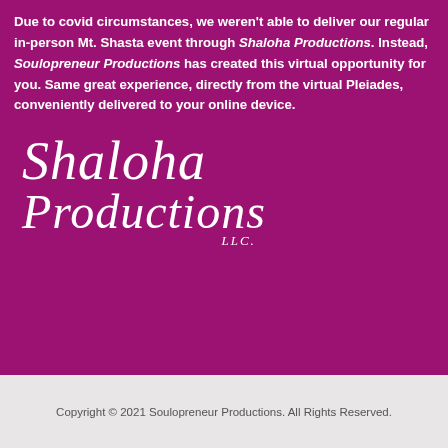Due to covid circumstances, we weren't able to deliver our regular in-person Mt. Shasta event through Shaloha Productions. Instead, Soulopreneur Productions has created this virtual opportunity for you. Same great experience, directly from the virtual Pleiades, conveniently delivered to your online device.
[Figure (logo): Shaloha Productions LLC cursive script logo in white on magenta background]
Copyright © 2021 Soulopreneur Productions. All Rights Reserved.